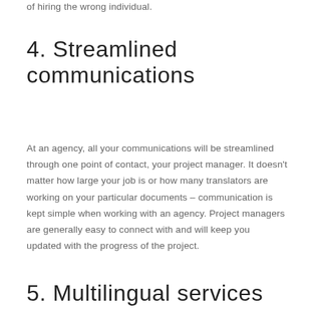translators, saving your company the headache of hiring the wrong individual.
4. Streamlined communications
At an agency, all your communications will be streamlined through one point of contact, your project manager. It doesn't matter how large your job is or how many translators are working on your particular documents – communication is kept simple when working with an agency. Project managers are generally easy to connect with and will keep you updated with the progress of the project.
5. Multilingual services